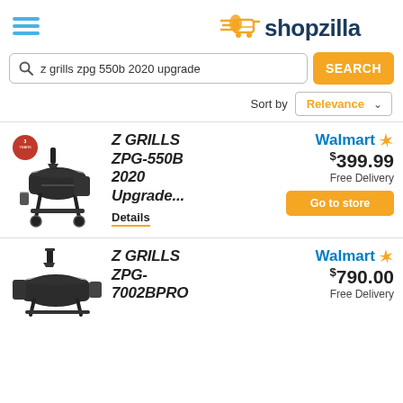shopzilla
z grills zpg 550b 2020 upgrade
SEARCH
Sort by Relevance
[Figure (photo): Z Grills ZPG-550B 2020 Upgrade pellet grill smoker with 3 year warranty badge]
Z GRILLS ZPG-550B 2020 Upgrade...
Details
Walmart $399.99 Free Delivery
Go to store
[Figure (photo): Z Grills ZPG-7002BPRO pellet grill smoker]
Z GRILLS ZPG-7002BPRO
Walmart $790.00 Free Delivery